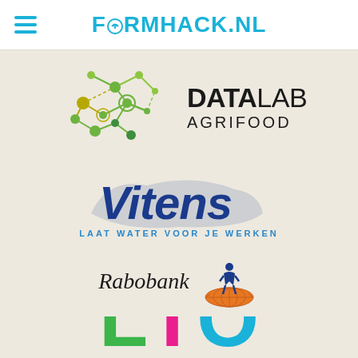FORMHACK.NL
[Figure (logo): DataLab Agrifood logo with network/nodes graphic and text DATA LAB AGRIFOOD]
[Figure (logo): Vitens logo with italic text 'Vitens' in dark blue and tagline 'LAAT WATER VOOR JE WERKEN']
[Figure (logo): Rabobank logo with italic text 'Rabobank' and orange globe icon with human figure silhouette]
[Figure (logo): LTO logo partially visible showing large letters L (green), T (pink/magenta), O (cyan) at bottom of page]